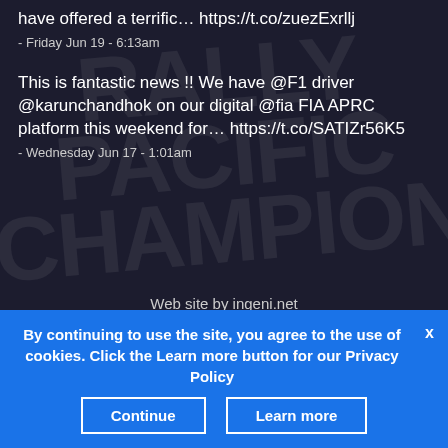have offered a terrific... https://t.co/zuezExrllj
- Friday Jun 19 - 6:13am
This is fantastic news !! We have @F1 driver @karunchandhok on our digital @fia FIA APRC platform this weekend for... https://t.co/SATIZr56K5
- Wednesday Jun 17 - 1:01am
Web site by ingeni.net
[Figure (illustration): Decorative ornament and social media icons (Twitter bird and Facebook f)]
By continuing to use the site, you agree to the use of cookies. Click the Learn more button for our Privacy Policy
Continue
Learn more